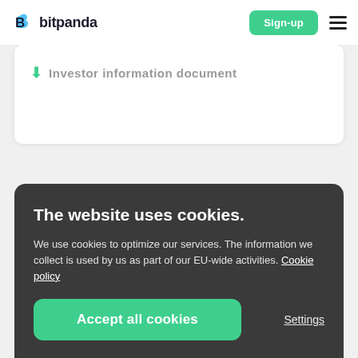bitpanda | Sign-up
Investor information document
The website uses cookies.
We use cookies to optimize our services. The information we collect is used by us as part of our EU-wide activities. Cookie policy
Accept all cookies
Settings